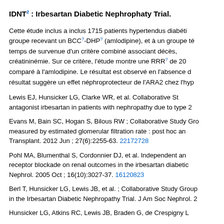IDNT² : Irbesartan Diabetic Nephrophaty Trial.
Cette étude inclus a inclus 1715 patients hypertendus diabéti... groupe recevant un BCC?-DHP? (amlodipine), et à un groupe té... temps de survenue d'un critère combiné associant décès, créatininémie. Sur ce critère, l'étude montre une RRR? de 20... comparé à l'amlodipine. Le résultat est observé en l'absence d... résultat suggère un effet néphroprotecteur de l'ARA2 chez l'hyp...
Lewis EJ, Hunsicker LG, Clarke WR, et al. Collaborative Stu... antagonist irbesartan in patients with nephropathy due to type...
Evans M, Bain SC, Hogan S, Bilous RW ; Collaborative Study Gro... measured by estimated glomerular filtration rate : post hoc an... Transplant. 2012 Jun ; 27(6):2255-63. 22172728
Pohl MA, Blumenthal S, Cordonnier DJ, et al. Independent an... receptor blockade on renal outcomes in the irbesartan diabetic... Nephrol. 2005 Oct ; 16(10):3027-37. 16120823
Berl T, Hunsicker LG, Lewis JB, et al. ; Collaborative Study Group... in the Irbesartan Diabetic Nephropathy Trial. J Am Soc Nephrol. ...
Hunsicker LG, Atkins RC, Lewis JB, Braden G, de Crespigny L...